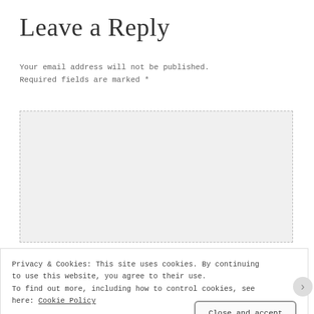Leave a Reply
Your email address will not be published. Required fields are marked *
COMMENT *
Privacy & Cookies: This site uses cookies. By continuing to use this website, you agree to their use. To find out more, including how to control cookies, see here: Cookie Policy
Close and accept